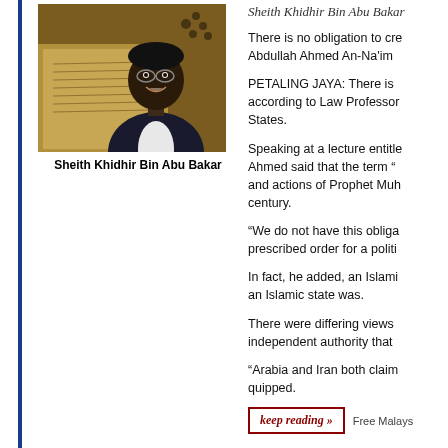[Figure (photo): Photo of Sheith Khidhir Bin Abu Bakar, a smiling man wearing glasses and a dark jacket, with a Quran/prayer beads in the background]
Sheith Khidhir Bin Abu Bakar
Sheith Khidhir Bin Abu Bakar
There is no obligation to cre Abdullah Ahmed An-Na'im
PETALING JAYA: There is according to Law Professor States.
Speaking at a lecture entitle Ahmed said that the term “ and actions of Prophet Muh century.
“We do not have this obliga prescribed order for a politi
In fact, he added, an Islami an Islamic state was.
There were differing views independent authority that
“Arabia and Iran both claim quipped.
Free Malays
keep reading »